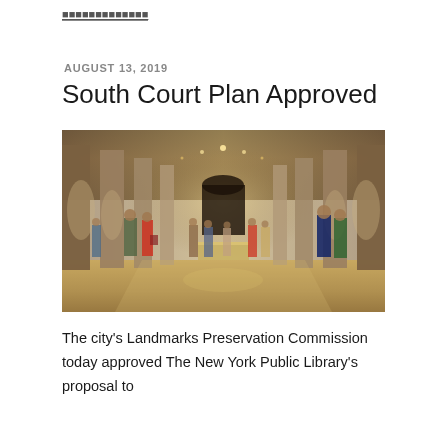AUGUST 13, 2019
South Court Plan Approved
[Figure (photo): Interior view of a grand stone hall with tall columns and arched recesses, visitors walking through the space, warm lighting from ceiling spotlights, a low rectangular display case in the center of the polished floor.]
The city's Landmarks Preservation Commission today approved The New York Public Library's proposal to